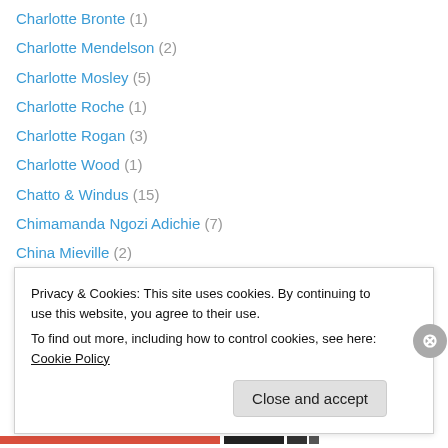Charlotte Bronte (1)
Charlotte Mendelson (2)
Charlotte Mosley (5)
Charlotte Roche (1)
Charlotte Rogan (3)
Charlotte Wood (1)
Chatto & Windus (15)
Chimamanda Ngozi Adichie (7)
China Mieville (2)
Chip Zdarsky (1)
Choderlos de Laclos (1)
Chris Bohjalian (1)
Chris Cleave (3)
Privacy & Cookies: This site uses cookies. By continuing to use this website, you agree to their use.
To find out more, including how to control cookies, see here: Cookie Policy
Close and accept